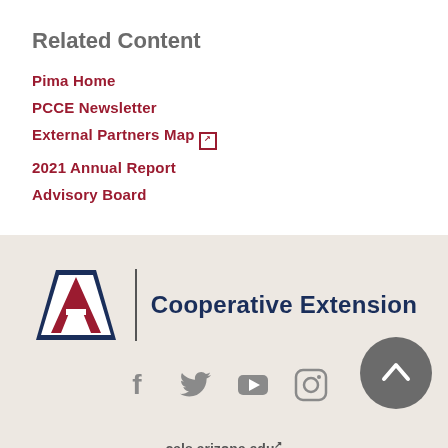Related Content
Pima Home
PCCE Newsletter
External Partners Map (link is external)
2021 Annual Report
Advisory Board
[Figure (logo): University of Arizona Cooperative Extension logo with UA block A mark and text]
[Figure (infographic): Social media icons row: Facebook, Twitter, YouTube, Instagram, and a back-to-top arrow button]
cals.arizona.edu (link is external)